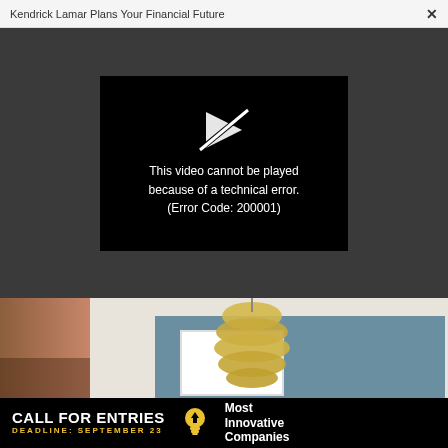Kendrick Lamar Plans Your Financial Future  ×
[Figure (screenshot): Video player showing error message on dark background. A broken play button icon appears above the text: 'This video cannot be played because of a technical error. (Error Code: 200001)']
[Figure (photo): Interior room photo showing a decorative woven pendant lamp hanging over a blue wall with a white-framed artwork, and a person's hands visible at the bottom left edge.]
[Figure (infographic): Black advertisement banner reading: CALL FOR ENTRIES in large white bold text, DEADLINE: SEPTEMBER 23 in yellow text, with a lightbulb icon, and 'Most Innovative Companies' in white text on the right.]